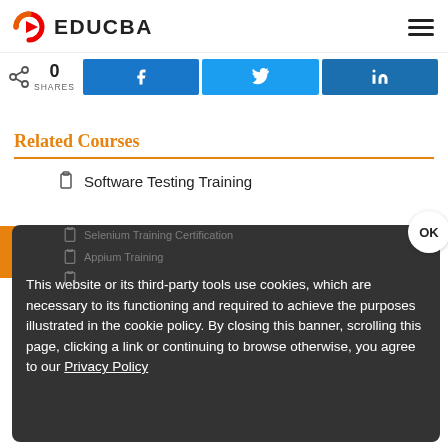EDUCBA
0 SHARES
[Figure (screenshot): Social share buttons: Facebook, Twitter, LinkedIn]
Related Courses
Software Testing Training
Selenium Training Certification
Appium Training
This website or its third-party tools use cookies, which are necessary to its functioning and required to achieve the purposes illustrated in the cookie policy. By closing this banner, scrolling this page, clicking a link or continuing to browse otherwise, you agree to our Privacy Policy